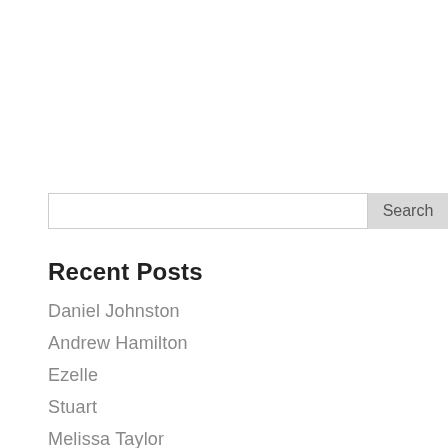[Figure (screenshot): Search input box with a 'Search' button on the right]
Recent Posts
Daniel Johnston
Andrew Hamilton
Ezelle
Stuart
Melissa Taylor